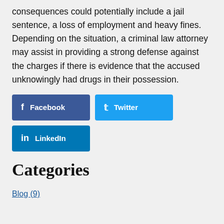consequences could potentially include a jail sentence, a loss of employment and heavy fines. Depending on the situation, a criminal law attorney may assist in providing a strong defense against the charges if there is evidence that the accused unknowingly had drugs in their possession.
[Figure (infographic): Social share buttons for Facebook, Twitter, and LinkedIn]
Categories
Blog (9)